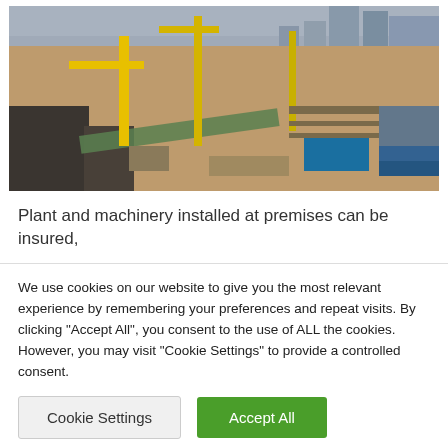[Figure (photo): Aerial view of a large construction site with yellow cranes, earth-moving equipment, mud, scaffolding, blue containers, and city buildings in the background.]
Plant and machinery installed at premises can be insured,
We use cookies on our website to give you the most relevant experience by remembering your preferences and repeat visits. By clicking "Accept All", you consent to the use of ALL the cookies. However, you may visit "Cookie Settings" to provide a controlled consent.